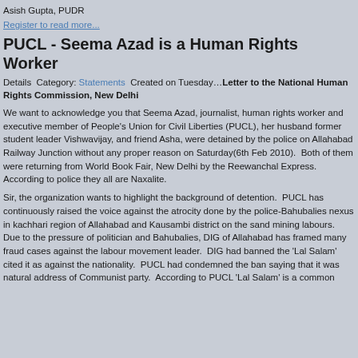Asish Gupta, PUDR
Register to read more...
PUCL - Seema Azad is a Human Rights Worker
Details Category: Statements Created on Tuesday… Letter to the National Human Rights Commission, New Delhi
We want to acknowledge you that Seema Azad, journalist, human rights worker and executive member of People's Union for Civil Liberties (PUCL), her husband former student leader Vishwavijay, and friend Asha, were detained by the police on Allahabad Railway Junction without any proper reason on Saturday(6th Feb 2010).  Both of them were returning from World Book Fair, New Delhi by the Reewanchal Express.  According to police they all are Naxalite.
Sir, the organization wants to highlight the background of detention.  PUCL has continuously raised the voice against the atrocity done by the police-Bahubalies nexus in kachhari region of Allahabad and Kausambi district on the sand mining labours.  Due to the pressure of politician and Bahubalies, DIG of Allahabad has framed many fraud cases against the labour movement leader.  DIG had banned the 'Lal Salam' cited it as against the nationality.  PUCL had condemned the ban saying that it was natural address of Communist party.  According to PUCL 'Lal Salam' is a common